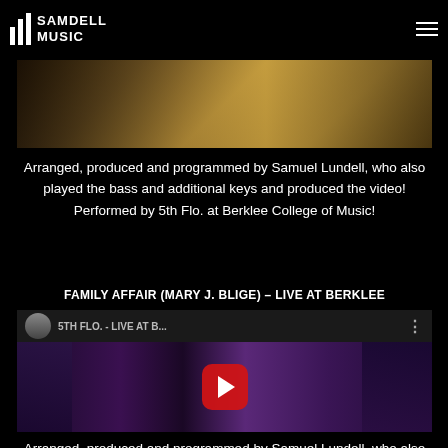SAMDELL MUSIC
[Figure (photo): Partial view of a musical performance or music video still, dark golden/warm toned image cropped at top]
Arranged, produced and programmed by Samuel Lundell, who also played the bass and additional keys and produced the video! Performed by 5th Flo. at Berklee College of Music!
FAMILY AFFAIR (MARY J. BLIGE) – LIVE AT BERKLEE
[Figure (screenshot): YouTube video thumbnail showing '5TH FLO. - LIVE AT B...' with a performance scene featuring musicians, play button overlay, and YouTube interface elements]
Arranged, produced and programmed by Samuel Lundell, who also played the additional